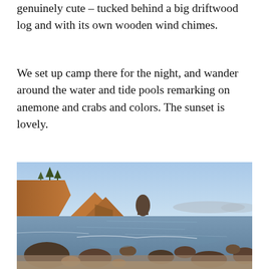genuinely cute – tucked behind a big driftwood log and with its own wooden wind chimes.
We set up camp there for the night, and wander around the water and tide pools remarking on anemone and crabs and colors. The sunset is lovely.
[Figure (photo): A coastal sunset photograph showing a rocky shoreline with tide pools, large rock formations, scattered boulders in shallow water, trees on a bluff to the left, a sea stack in the middle distance, and a gradient sky from pale blue at top to warm pink-orange near the horizon.]